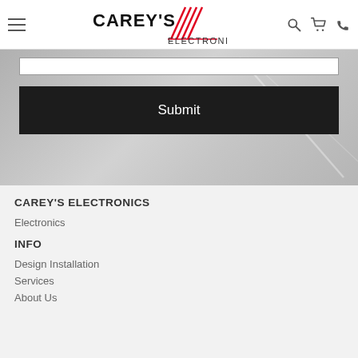Carey's Electronics — navigation header with hamburger menu, logo, search, cart, and phone icons
[Figure (screenshot): Input field (partially visible) and a black Submit button on a gray gradient hero background]
CAREY'S ELECTRONICS
Electronics
INFO
Design Installation
Services
About Us